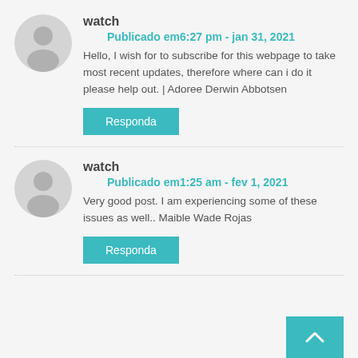[Figure (illustration): Gray placeholder avatar icon — person silhouette]
watch
Publicado em6:27 pm - jan 31, 2021
Hello, I wish for to subscribe for this webpage to take most recent updates, therefore where can i do it please help out. | Adoree Derwin Abbotsen
Responda
[Figure (illustration): Gray placeholder avatar icon — person silhouette]
watch
Publicado em1:25 am - fev 1, 2021
Very good post. I am experiencing some of these issues as well.. Maible Wade Rojas
Responda